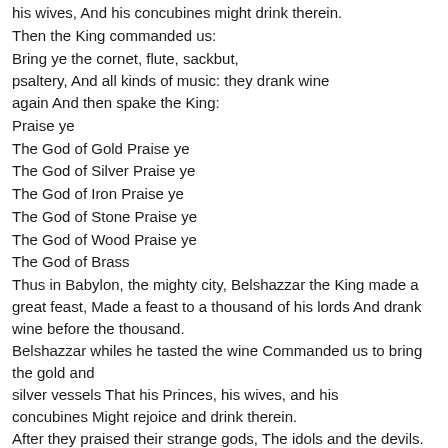his wives, And his concubines might drink therein.
Then the King commanded us:
Bring ye the cornet, flute, sackbut,
psaltery, And all kinds of music: they drank wine again And then spake the King:
Praise ye
The God of Gold Praise ye
The God of Silver Praise ye
The God of Iron Praise ye
The God of Stone Praise ye
The God of Wood Praise ye
The God of Brass
Thus in Babylon, the mighty city, Belshazzar the King made a great feast, Made a feast to a thousand of his lords And drank wine before the thousand.
Belshazzar whiles he tasted the wine Commanded us to bring the gold and silver vessels That his Princes, his wives, and his concubines Might rejoice and drink therein.
After they praised their strange gods, The idols and the devils. False gods who can neither see nor hear Called they for the timbrel and the pleasÂant harp To extol the glory of the King.
[28]
Then they pledged the King before the